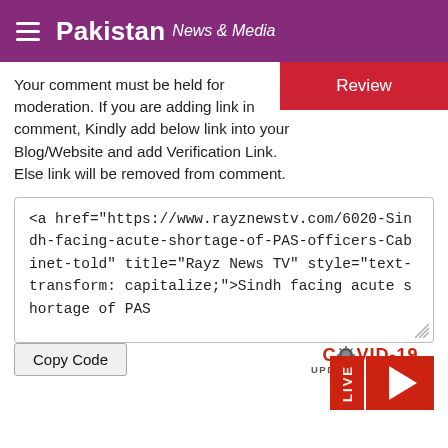Pakistan News & Media
Your comment must be held for moderation. If you are adding link in comment, Kindly add below link into your Blog/Website and add Verification Link. Else link will be removed from comment.
Review
<a href="https://www.rayznewstv.com/6020-Sindh-facing-acute-shortage-of-PAS-officers-Cabinet-told" title="Rayz News TV" style="text-transform: capitalize;">Sindh facing acute shortage of PAS
Copy Code
[Figure (logo): COVID-19 UPDATES-PAKISTAN logo badge in red and grey]
[Figure (other): LIVE red button with play triangle icon]